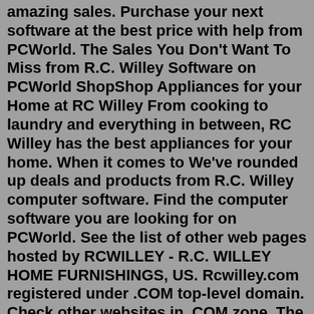amazing sales. Purchase your next software at the best price with help from PCWorld. The Sales You Don't Want To Miss from R.C. Willey Software on PCWorld ShopShop Appliances for your Home at RC Willey From cooking to laundry and everything in between, RC Willey has the best appliances for your home. When it comes to We've rounded up deals and products from R.C. Willey computer software. Find the computer software you are looking for on PCWorld. See the list of other web pages hosted by RCWILLEY - R.C. WILLEY HOME FURNISHINGS, US. Rcwilley.com registered under .COM top-level domain. Check other websites in .COM zone. The last verification results, performed on (November 24, 2019) rcwilley.com show that rcwilley.com has an expired wildcard SSL certificate issued by COMODO CA Limited ...RC Willey is your one stop shop for all of your home furnishings needs. RC Willey has six locations in Utah: Draper, Murray, Orem Mall, Riverdale, Salt Lake City and Syracuse, two locations in Las Vegas: Henderson and